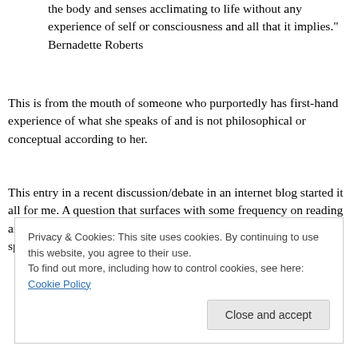the body and senses acclimating to life without any experience of self or consciousness and all that it implies." Bernadette Roberts
This is from the mouth of someone who purportedly has first-hand experience of what she speaks of and is not philosophical or conceptual according to her.
This entry in a recent discussion/debate in an internet blog started it all for me. A question that surfaces with some frequency on reading around  the topic of awakening/non-duality, including  New Age spirituality, and which is very
Privacy & Cookies: This site uses cookies. By continuing to use this website, you agree to their use.
To find out more, including how to control cookies, see here: Cookie Policy
[Close and accept button]